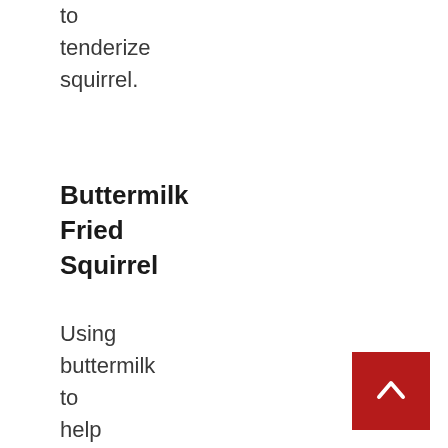to tenderize squirrel.
Buttermilk Fried Squirrel
Using buttermilk to help the crust stick makes this